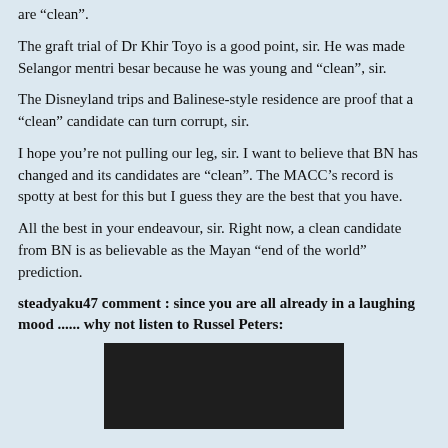are “clean”.
The graft trial of Dr Khir Toyo is a good point, sir. He was made Selangor mentri besar because he was young and “clean”, sir.
The Disneyland trips and Balinese-style residence are proof that a “clean” candidate can turn corrupt, sir.
I hope you’re not pulling our leg, sir. I want to believe that BN has changed and its candidates are “clean”. The MACC’s record is spotty at best for this but I guess they are the best that you have.
All the best in your endeavour, sir. Right now, a clean candidate from BN is as believable as the Mayan “end of the world” prediction.
steadyaku47 comment : since you are all already in a laughing mood ...... why not listen to Russel Peters:
[Figure (screenshot): Black video player embed area]